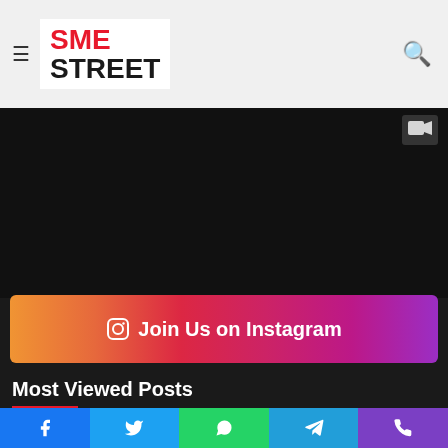SME STREET
[Figure (screenshot): Dark video/media area with video camera icon in top right corner]
[Figure (infographic): Instagram join us banner with gradient background from orange to purple]
Most Viewed Posts
15 hours ago — Cornell University signs Agreement with O.P. Jindal Global University to Build Global Hub in India
Social share buttons: Facebook, Twitter, WhatsApp, Telegram, Phone